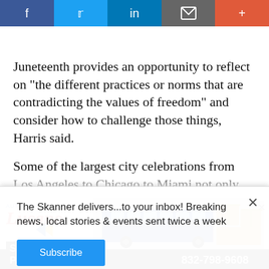Social share bar: Facebook, Twitter, LinkedIn, Email, More
Juneteenth provides an opportunity to reflect on "the different practices or norms that are contradicting the values of freedom" and consider how to challenge those things, Harris said.
Some of the largest city celebrations from Los Angeles to Chicago to Miami not only touched on the history of slavery in America, but also celebrated Black culture
The Skanner delivers...to your inbox! Breaking news, local stories & events sent twice a week
[Figure (screenshot): Subscribe button for newsletter popup]
[Figure (photo): Advertisement for Autobuses Lucano - Servicio de Paquetería, phone 832-798-9608, showing a bus and cardboard boxes]